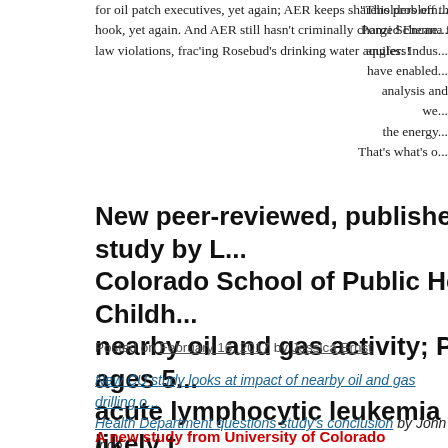for oil patch executives, yet again; AER keeps shareholders off the hook, yet again. And AER still hasn't criminally charged Encana for law violations, frac'ing Rosebud's drinking water aquifers!
"This problem... Ponzi Scheme... angles: Indus... have enabled... analysis and we... the energy... That's what's o...
New peer-reviewed, published study by L... Colorado School of Public Health: Childh... nearby oil and gas activity; People ages 5... acute lymphocytic leukemia more likely t... high concentration of oil and gas activity...
Posted on February 16, 2017 by Jessica Ernst
New CU study looks at nearby oil and gas drilling o... Health Department questions study's conclusion by John Ingo... Post
A new study from University of Colorado researchers finds...